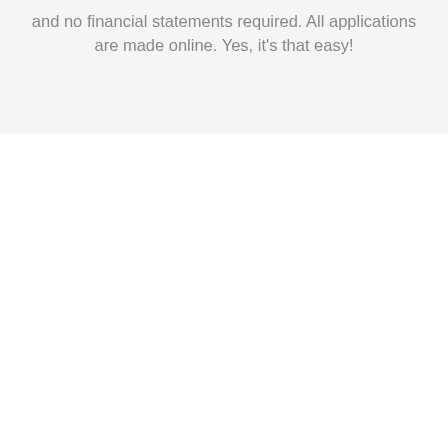and no financial statements required. All applications are made online. Yes, it's that easy!